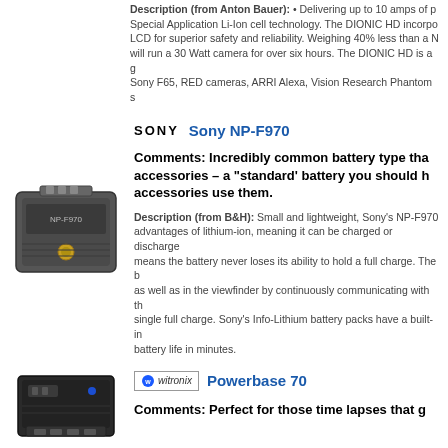Description (from Anton Bauer): • Delivering up to 10 amps of peak current using our Special Application Li-Ion cell technology. The DIONIC HD incorporates an LCD for superior safety and reliability. Weighing 40% less than a NiMH battery, it will run a 30 Watt camera for over six hours. The DIONIC HD is a great choice for Sony F65, RED cameras, ARRI Alexa, Vision Research Phantom s
[Figure (photo): Sony NP-F970 battery - dark grey rectangular camera battery]
SONY   Sony NP-F970
Comments: Incredibly common battery type that fits many accessories – a "standard' battery you should have if your accessories use them.
Description (from B&H): Small and lightweight, Sony's NP-F970 advantages of lithium-ion, meaning it can be charged or discharge means the battery never loses its ability to hold a full charge. The b as well as in the viewfinder by continuously communicating with th single full charge. Sony's Info-Lithium battery packs have a built-in battery life in minutes.
[Figure (photo): Witronix Powerbase 70 device - black rectangular battery mount/powerbase]
Powerbase 70
Comments: Perfect for those time lapses that g